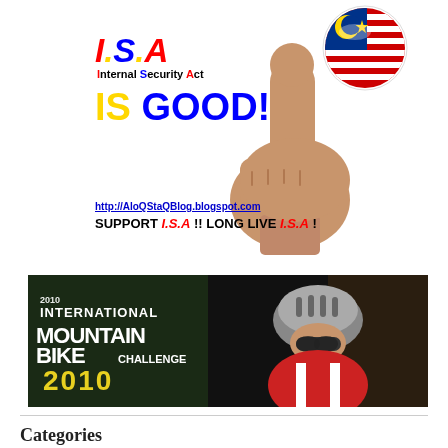[Figure (illustration): ISA (Internal Security Act) promotional graphic with thumbs up hand, Malaysian flag button, text 'I.S.A Internal Security Act IS GOOD!' with URL and support text]
[Figure (photo): International Mountain Bike Challenge 2010 banner showing a cyclist wearing helmet and sunglasses with event branding text]
Categories